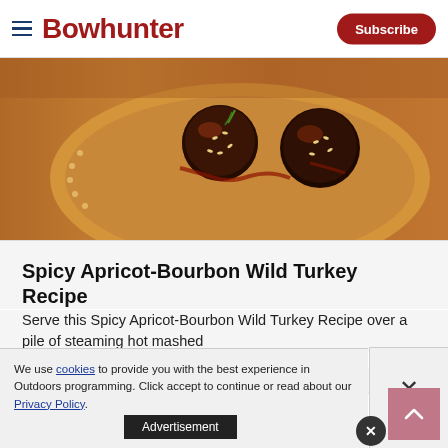Bowhunter | Subscribe
[Figure (photo): Food photo showing glazed dark meatballs with sesame seeds and green onions on a wooden plate]
Spicy Apricot-Bourbon Wild Turkey Recipe
Serve this Spicy Apricot-Bourbon Wild Turkey Recipe over a pile of steaming hot mashed
Jenny Nguyen-Wheatley
Advertisement
We use cookies to provide you with the best experience in Outdoors programming. Click accept to continue or read about our Privacy Policy.